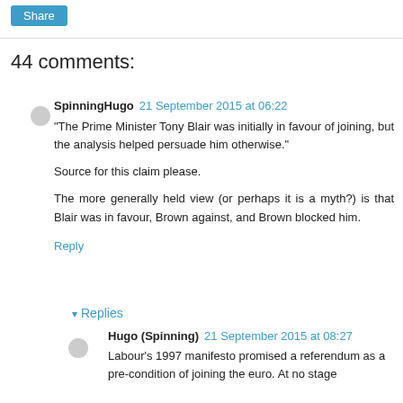Share
44 comments:
SpinningHugo  21 September 2015 at 06:22
"The Prime Minister Tony Blair was initially in favour of joining, but the analysis helped persuade him otherwise."
Source for this claim please.
The more generally held view (or perhaps it is a myth?) is that Blair was in favour, Brown against, and Brown blocked him.
Reply
▾ Replies
Hugo (Spinning)  21 September 2015 at 08:27
Labour's 1997 manifesto promised a referendum as a pre-condition of joining the euro. At no stage